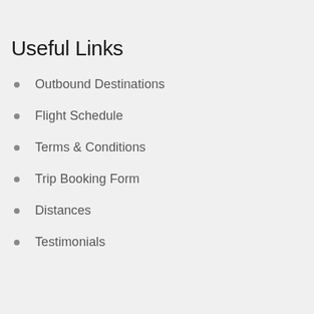Useful Links
Outbound Destinations
Flight Schedule
Terms & Conditions
Trip Booking Form
Distances
Testimonials